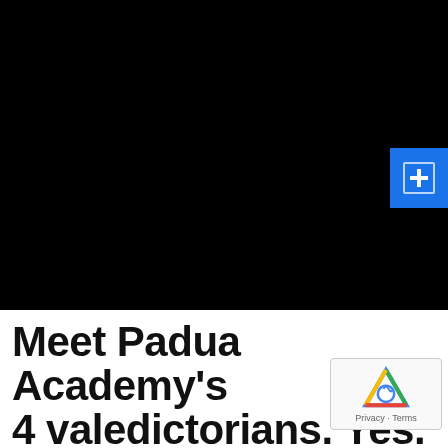[Figure (photo): Dark/black photo area, likely a newspaper or news website screenshot with a mostly black image area. A blue button/icon is visible on the right side.]
Meet Padua Academy's 4 valedictorians. Yes. 4